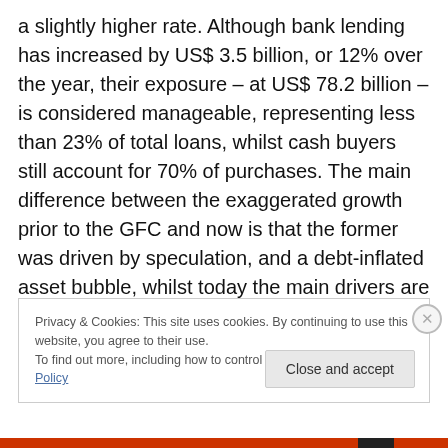a slightly higher rate. Although bank lending has increased by US$ 3.5 billion, or 12% over the year, their exposure – at US$ 78.2 billion – is considered manageable, representing less than 23% of total loans, whilst cash buyers still account for 70% of purchases. The main difference between the exaggerated growth prior to the GFC and now is that the former was driven by speculation, and a debt-inflated asset bubble, whilst today the main drivers are spectacular economic growth and a booming population.
Privacy & Cookies: This site uses cookies. By continuing to use this website, you agree to their use.
To find out more, including how to control cookies, see here: Cookie Policy